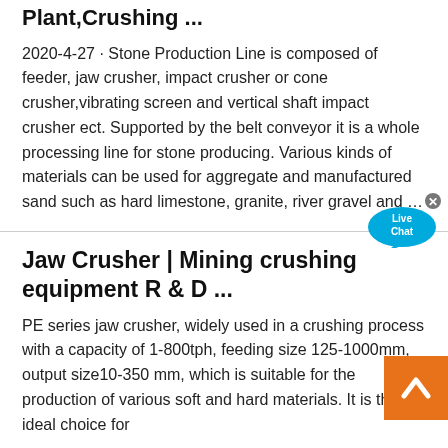Plant,Crushing ...
2020-4-27 · Stone Production Line is composed of feeder, jaw crusher, impact crusher or cone crusher,vibrating screen and vertical shaft impact crusher ect. Supported by the belt conveyor it is a whole processing line for stone producing. Various kinds of materials can be used for aggregate and manufactured sand such as hard limestone, granite, river gravel and …
Jaw Crusher | Mining crushing equipment R & D ...
PE series jaw crusher, widely used in a crushing process with a capacity of 1-800tph, feeding size 125-1000mm, output size10-350 mm, which is suitable for the production of various soft and hard materials. It is the ideal choice for